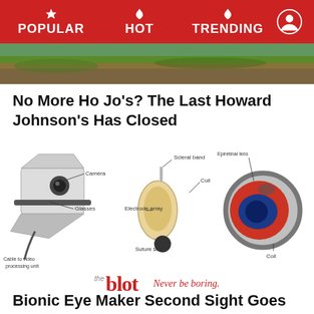POPULAR  HOT  TRENDING
[Figure (photo): Hero image of outdoor scene with grass and landscape]
No More Ho Jo’s?  The Last Howard Johnson’s Has Closed
[Figure (engineering-diagram): Bionic eye system diagram showing three parts: (1) Camera and Glasses with Cable to video processing unit, (2) Electrode array, Scleral band, Coil, and Suture tabs, (3) Cross-section of eye showing internal coil placement]
[Figure (logo): The Blot logo with tagline 'Never be boring.']
Bionic Eye Maker Second Sight Goes Under, Leaves Customers Blind